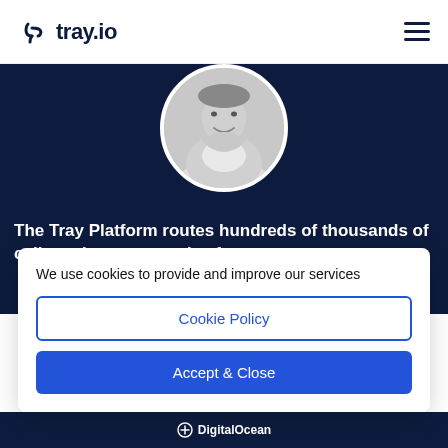tray.io
[Figure (photo): Black and white circular headshot photo of a smiling man, shown on a dark navy blue background]
The Tray Platform routes hundreds of thousands of calls and events per day from...
We use cookies to provide and improve our services
Cookie Policy
Accept & Close
DigitalOcean